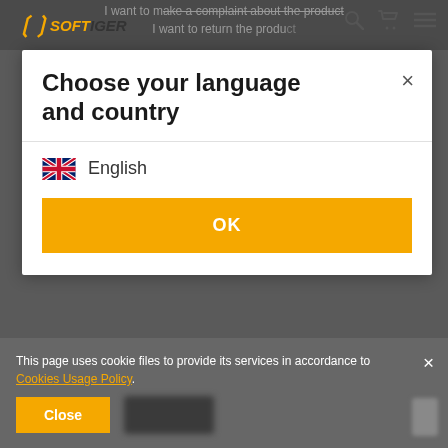SOFTIGER - I want to make a complaint about the product / I want to return the product
Choose your language and country
English
OK
HELP
MY ACCOUNT
This page uses cookie files to provide its services in accordance to Cookies Usage Policy.
Close